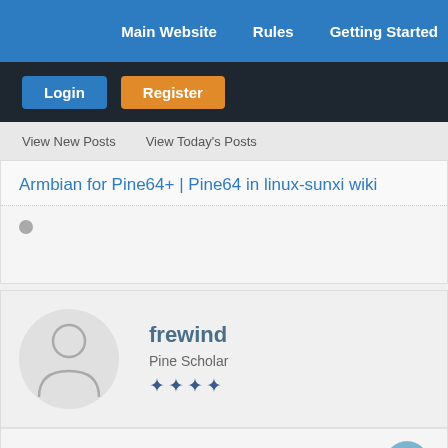Main Website   Rules   Getting Started
Login   Register
View New Posts   View Today's Posts
Armbian for Pine64+ | Pine64 in linux-sunxi wiki
frewind
Pine Scholar
05-08-2016, 03:56 AM